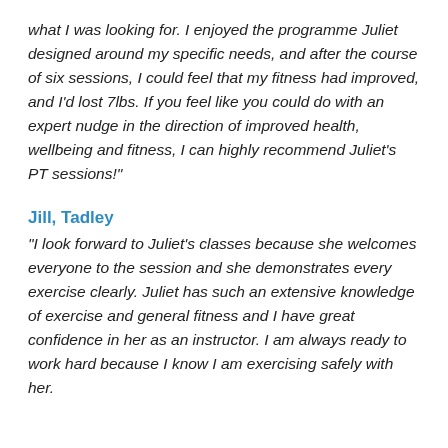what I was looking for. I enjoyed the programme Juliet designed around my specific needs, and after the course of six sessions, I could feel that my fitness had improved, and I'd lost 7lbs. If you feel like you could do with an expert nudge in the direction of improved health, wellbeing and fitness, I can highly recommend Juliet's PT sessions!"
Jill, Tadley
"I look forward to Juliet's classes because she welcomes everyone to the session and she demonstrates every exercise clearly. Juliet has such an extensive knowledge of exercise and general fitness and I have great confidence in her as an instructor. I am always ready to work hard because I know I am exercising safely with her.